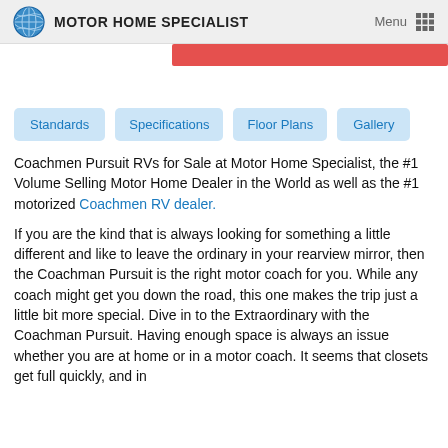MOTOR HOME SPECIALIST
[Figure (other): Red banner/bar partially visible at top of page content]
Standards
Specifications
Floor Plans
Gallery
Coachmen Pursuit RVs for Sale at Motor Home Specialist, the #1 Volume Selling Motor Home Dealer in the World as well as the #1 motorized Coachmen RV dealer.
If you are the kind that is always looking for something a little different and like to leave the ordinary in your rearview mirror, then the Coachman Pursuit is the right motor coach for you. While any coach might get you down the road, this one makes the trip just a little bit more special. Dive in to the Extraordinary with the Coachman Pursuit. Having enough space is always an issue whether you are at home or in a motor coach. It seems that closets get full quickly, and in